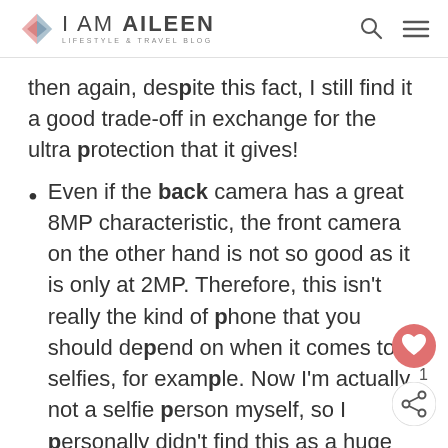i AM AiLEEN — LIFESTYLE & TRAVEL BLOG
then again, despite this fact, I still find it a good trade-off in exchange for the ultra protection that it gives!
Even if the back camera has a great 8MP characteristic, the front camera on the other hand is not so good as it is only at 2MP. Therefore, this isn't really the kind of phone that you should depend on when it comes to selfies, for example. Now I'm actually not a selfie person myself, so I personally didn't find this as a huge 'con'; however, I understand that some of you would find that as a problem. (...unless you're a pro